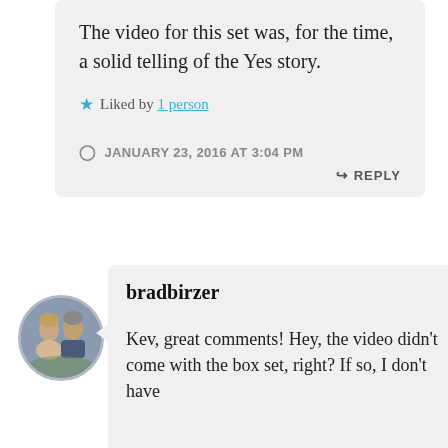The video for this set was, for the time, a solid telling of the Yes story.
Liked by 1 person
JANUARY 23, 2016 AT 3:04 PM
REPLY
[Figure (photo): Circular avatar photo of a man and woman]
bradbirzer
Kev, great comments! Hey, the video didn't come with the box set, right? If so, I don't have